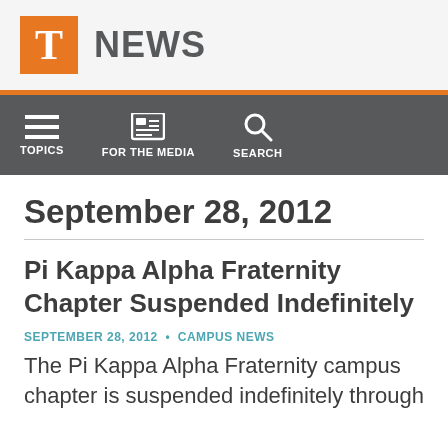T NEWS
[Figure (logo): University of Tennessee orange T logo with NEWS text]
September 28, 2012
Pi Kappa Alpha Fraternity Chapter Suspended Indefinitely
SEPTEMBER 28, 2012 • CAMPUS NEWS
The Pi Kappa Alpha Fraternity campus chapter is suspended indefinitely through